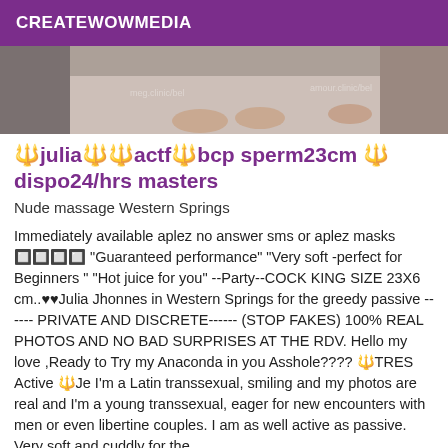CREATEWOWMEDIA
[Figure (photo): Partial photo of feet/legs on a light surface, watermarked]
🔱julia🔱🔱actf🔱bcp sperm23cm 🔱dispo24/hrs masters
Nude massage Western Springs
Immediately available aplez no answer sms or aplez masks 🔲🔲🔲🔲 "Guaranteed performance" "Very soft -perfect for Beginners " "Hot juice for you" --Party--COCK KING SIZE 23X6 cm..♥♥Julia Jhonnes in Western Springs for the greedy passive ------ PRIVATE AND DISCRETE------ (STOP FAKES) 100% REAL PHOTOS AND NO BAD SURPRISES AT THE RDV. Hello my love ,Ready to Try my Anaconda in you Asshole???? 🔱TRES Active 🔱Je I'm a Latin transsexual, smiling and my photos are real and I'm a young transsexual, eager for new encounters with men or even libertine couples. I am as well active as passive. Very soft and cuddly for the